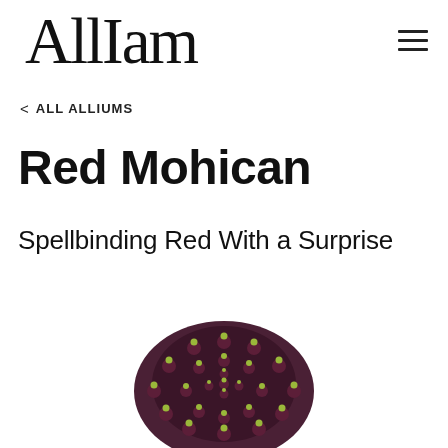AllIam — navigation logo and hamburger menu
< ALL ALLIUMS
Red Mohican
Spellbinding Red With a Surprise
[Figure (photo): Close-up photo of a Red Mohican allium flower head with dark red/purple petals and lime green tips, viewed from above, partially visible at the bottom of the page.]